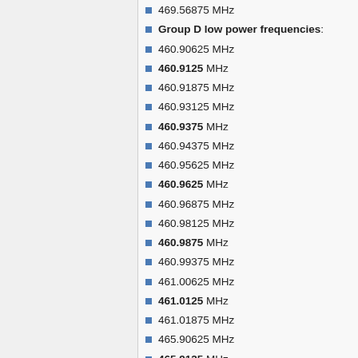469.56875 MHz
Group D low power frequencies:
460.90625 MHz
460.9125 MHz
460.91875 MHz
460.93125 MHz
460.9375 MHz
460.94375 MHz
460.95625 MHz
460.9625 MHz
460.96875 MHz
460.98125 MHz
460.9875 MHz
460.99375 MHz
461.00625 MHz
461.0125 MHz
461.01875 MHz
465.90625 MHz
465.9125 MHz
465.91875 MHz
465.93125 MHz
465.9375 MHz